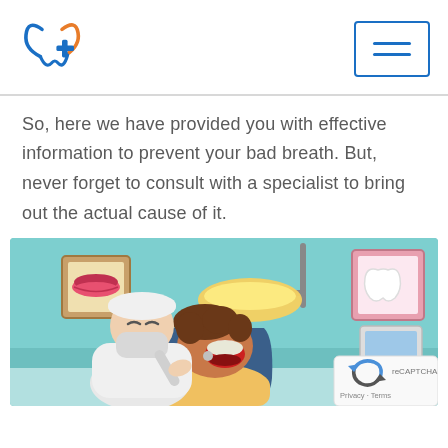[Figure (logo): Dental clinic logo with tooth and cross icon in blue and orange]
So, here we have provided you with effective information to prevent your bad breath. But, never forget to consult with a specialist to bring out the actual cause of it.
[Figure (illustration): Cartoon illustration of a dentist examining a patient in a dental chair, with dental equipment and wall decorations visible]